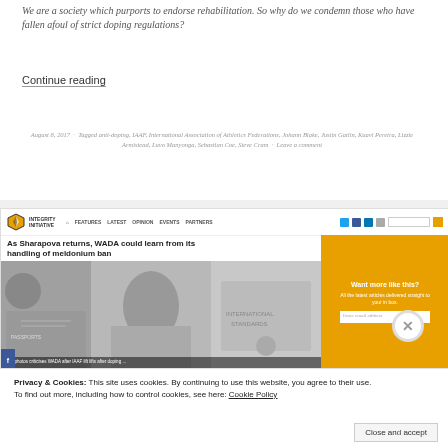We are a society which purports to endorse rehabilitation. So why do we condemn those who have fallen afoul of strict doping regulations?
Continue reading
August 8, 2017 · Tagged anti-doping, IAAF, International Association of Athletics Federations, Johann Blake, Justin Gatlin, Kuavi Pereira, Lizzie Armistead, Luvo Manyonga, Sebastian Coe, Steve Cram · Leave a comment
[Figure (screenshot): Screenshot of Integrity Initiative website showing navigation bar with logo, nav links (Features, Latest, Opinion, Events, Partners), social icons, search box, and an article headline 'As Sharapova returns, WADA could learn from its handling of meldonium ban' with article images and a sidebar widget 'Want more like this?' with email subscription form in orange]
Privacy & Cookies: This site uses cookies. By continuing to use this website, you agree to their use.
To find out more, including how to control cookies, see here: Cookie Policy
Close and accept